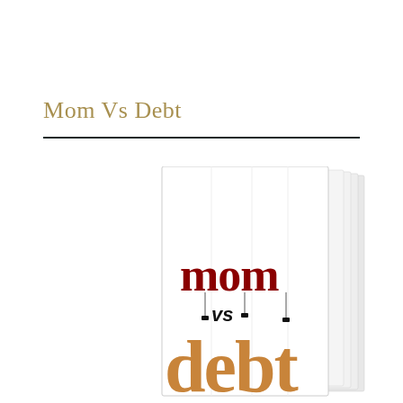Mom Vs Debt
[Figure (illustration): A stack of books with the cover showing 'mom vs debt' — 'mom' in dark red serif font at the top, 'vs' in black script/handwriting style in the middle, and 'debt' in large orange/gold block letters at the bottom, with Christmas ornaments hanging from strings attached to the letters. The books are shown in a slight perspective angle with multiple book spines visible on the right side.]